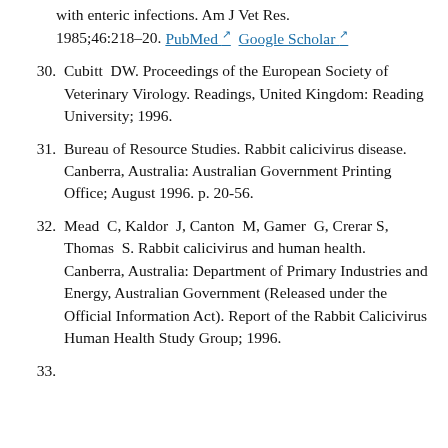with enteric infections. Am J Vet Res. 1985;46:218–20. PubMed  Google Scholar
30. Cubitt DW. Proceedings of the European Society of Veterinary Virology. Readings, United Kingdom: Reading University; 1996.
31. Bureau of Resource Studies. Rabbit calicivirus disease. Canberra, Australia: Australian Government Printing Office; August 1996. p. 20-56.
32. Mead C, Kaldor J, Canton M, Gamer G, Crerar S, Thomas S. Rabbit calicivirus and human health. Canberra, Australia: Department of Primary Industries and Energy, Australian Government (Released under the Official Information Act). Report of the Rabbit Calicivirus Human Health Study Group; 1996.
33. (partial, cut off at bottom)